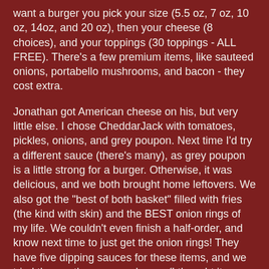want a burger you pick your size (5.5 oz, 7 oz, 10 oz, 14oz, and 20 oz), then your cheese (8 choices), and your toppings (30 toppings - ALL FREE). There's a few premium items, like sauteed onions, portabello mushrooms, and bacon - they cost extra.
Jonathan got American cheese on his, but very little else. I chose CheddarJack with tomatoes, pickles, onions, and grey poupon. Next time I'd try a different sauce (there's many), as grey poupon is a little strong for a burger. Otherwise, it was delicious, and we both brought home leftovers. We also got the "best of both basket" filled with fries (the kind with skin) and the BEST onion rings of my life. We couldn't even finish a half-order, and know next time to just get the onion rings! They have five dipping sauces for these items, and we tried three... the creamy cheese (I thought it was salty, JB liked it), the zesty horseradish (fantastic with the onion rings!), and the sweet pepper (strange aftertaste... kinda oily).
We got milkshakes to go (they have like 80 flavors!!), and I'd recommend getting them to go, since they get better after they're a little melty. I got the regular and Jonathan got the